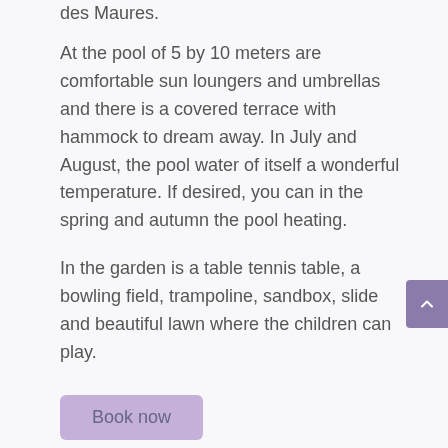des Maures.
At the pool of 5 by 10 meters are comfortable sun loungers and umbrellas and there is a covered terrace with hammock to dream away. In July and August, the pool water of itself a wonderful temperature. If desired, you can in the spring and autumn the pool heating.
In the garden is a table tennis table, a bowling field, trampoline, sandbox, slide and beautiful lawn where the children can play.
Book now